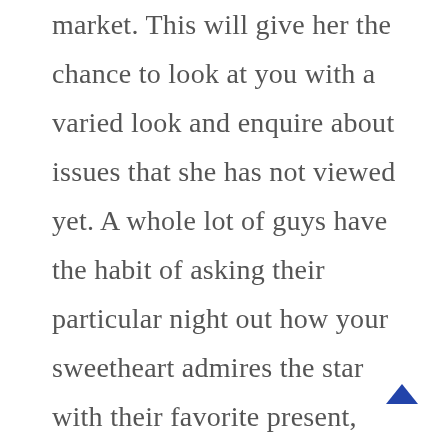market. This will give her the chance to look at you with a varied look and enquire about issues that she has not viewed yet. A whole lot of guys have the habit of asking their particular night out how your sweetheart admires the star with their favorite present, movie, or band. When you have given her some signs about the genre of movies that you like, in that case she will always be willing to answer your questions about her tastes.